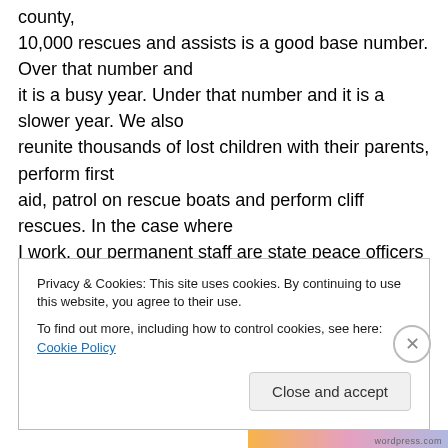county,
10,000 rescues and assists is a good base number. Over that number and
it is a busy year. Under that number and it is a slower year. We also
reunite thousands of lost children with their parents, perform first
aid, patrol on rescue boats and perform cliff rescues. In the case where
I work, our permanent staff are state peace officers with full police
Privacy & Cookies: This site uses cookies. By continuing to use this website, you agree to their use.
To find out more, including how to control cookies, see here: Cookie Policy
Close and accept